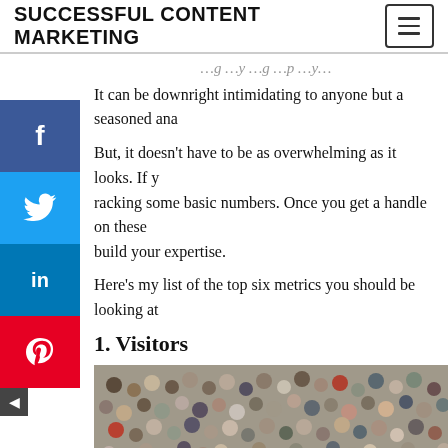SUCCESSFUL CONTENT MARKETING
It can be downright intimidating to anyone but a seasoned ana
But, it doesn’t have to be as overwhelming as it looks. If y… racking some basic numbers. Once you get a handle on these… build your expertise.
Here’s my list of the top six metrics you should be looking at
1. Visitors
[Figure (photo): Aerial view of a large crowd of people seen from above, densely packed in a public space.]